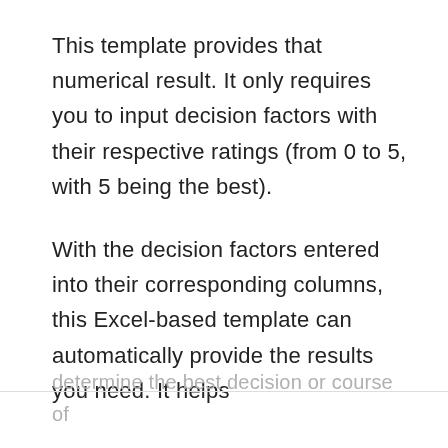This template provides that numerical result. It only requires you to input decision factors with their respective ratings (from 0 to 5, with 5 being the best).
With the decision factors entered into their corresponding columns, this Excel-based template can automatically provide the results you need. It helps
determine the best decision or course of